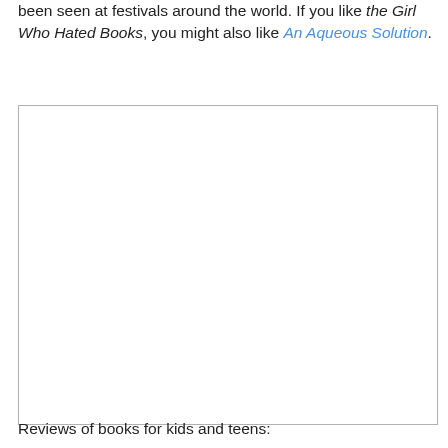been seen at festivals around the world. If you like the Girl Who Hated Books, you might also like An Aqueous Solution.
[Figure (other): A large white rectangular box with a gray border, appearing to be a placeholder image area.]
Reviews of books for kids and teens: